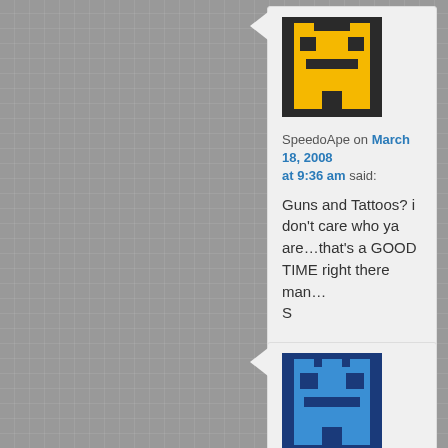[Figure (illustration): Pixel art avatar for SpeedoApe: dark background with yellow robot/monster face]
SpeedoApe on March 18, 2008 at 9:36 am said:
Guns and Tattoos? i don’t care who ya are…that’s a GOOD TIME right there man…
S
[Figure (illustration): Pixel art avatar for 5kem5: dark blue background with lighter blue robot/monster face]
5kem5 on March 18, 2008 at 9:59 am said: